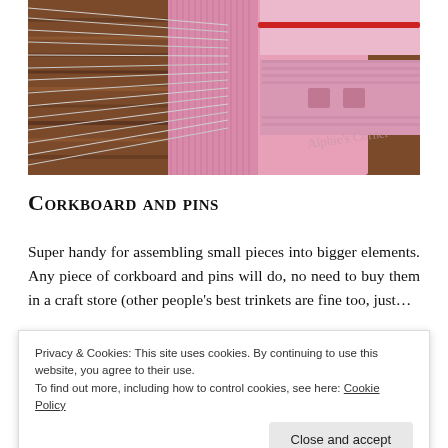[Figure (photo): Close-up photo of a pink plastic needle or pin organizer/holder with metal pins/needles fanned out to the left, placed on a brown wooden surface. A watermark reads 'Alphie's Corner'.]
Corkboard and pins
Super handy for assembling small pieces into bigger elements. Any piece of corkboard and pins will do, no need to buy them in a craft store (other people's best trinkets are fine too, just…
Privacy & Cookies: This site uses cookies. By continuing to use this website, you agree to their use.
To find out more, including how to control cookies, see here: Cookie Policy
Close and accept
[Figure (photo): Partial bottom strip showing small images of crafting or cookie items.]